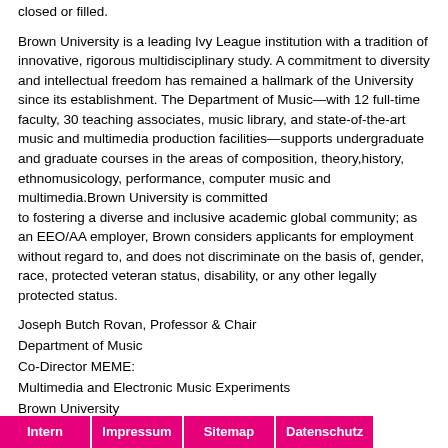closed or filled.
Brown University is a leading Ivy League institution with a tradition of innovative, rigorous multidisciplinary study. A commitment to diversity and intellectual freedom has remained a hallmark of the University since its establishment. The Department of Music—with 12 full-time faculty, 30 teaching associates, music library, and state-of-the-art music and multimedia production facilities—supports undergraduate and graduate courses in the areas of composition, theory,history, ethnomusicology, performance, computer music and multimedia.Brown University is committed to fostering a diverse and inclusive academic global community; as an EEO/AA employer, Brown considers applicants for employment without regard to, and does not discriminate on the basis of, gender, race, protected veteran status, disability, or any other legally protected status.
Joseph Butch Rovan, Professor & Chair
Department of Music
Co-Director MEME:
Multimedia and Electronic Music Experiments
Brown University
1 Young Orchard Ave., Box 1924
Providence, RI 02912
http://www.soundidea.org
Intern | Impressum | Sitemap | Datenschutz